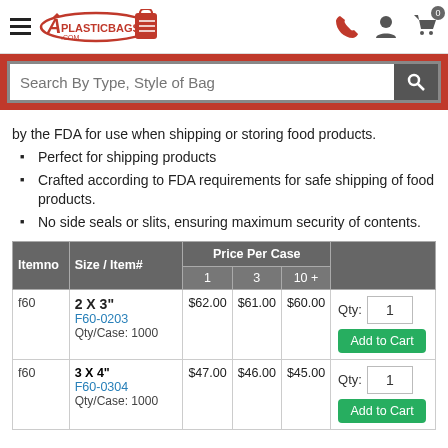APlasticBags.com navigation bar with logo, search phone, user, and cart icons
by the FDA for use when shipping or storing food products.
Perfect for shipping products
Crafted according to FDA requirements for safe shipping of food products.
No side seals or slits, ensuring maximum security of contents.
| Itemno | Size / Item# | Price Per Case (1) | Price Per Case (3) | Price Per Case (10 +) |  |
| --- | --- | --- | --- | --- | --- |
| f60 | 2 X 3"
F60-0203
Qty/Case: 1000 | $62.00 | $61.00 | $60.00 | Qty: 1 | Add to Cart |
| f60 | 3 X 4"
F60-0304
Qty/Case: 1000 | $47.00 | $46.00 | $45.00 | Qty: 1 | Add to Cart |